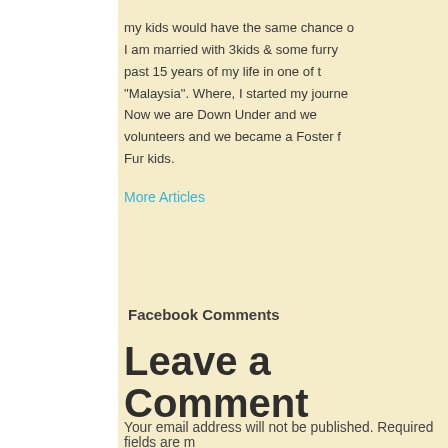my kids would have the same chance o... I am married with 3kids & some furry past 15 years of my life in one of t "Malaysia". Where, I started my journe Now we are Down Under and we volunteers and we became a Foster f Fur kids.
More Articles
Facebook Comments
Leave a Comment
Your email address will not be published. Required fields are m...